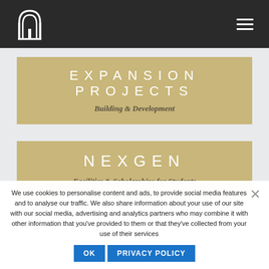Navigation header with logo and hamburger menu
EXPANSION PROJECTS
Building & Development
NEXGEN
Facilities & Scholarships for Students
We use cookies to personalise content and ads, to provide social media features and to analyse our traffic. We also share information about your use of our site with our social media, advertising and analytics partners who may combine it with other information that you've provided to them or that they've collected from your use of their services
OK   PRIVACY POLICY